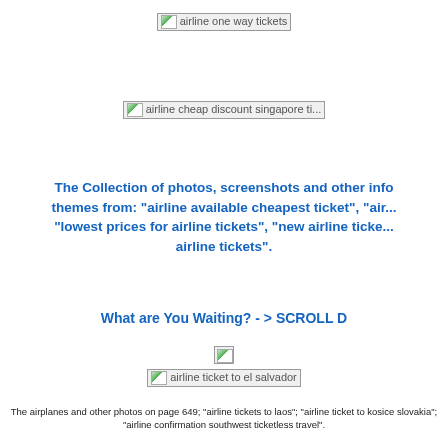[Figure (other): Broken image placeholder labeled 'airline one way tickets']
[Figure (other): Broken image placeholder labeled 'airline cheap discount singapore ti...']
The Collection of photos, screenshots and other info themes from: "airline available cheapest ticket", "air "lowest prices for airline tickets", "new airline ticke airline tickets".
What are You Waiting? - > SCROLL D
[Figure (other): Small broken image placeholder]
[Figure (other): Broken image placeholder labeled 'airline ticket to el salvador']
The airplanes and other photos on page 649; "airline tickets to laos"; "airline ticket to kosice slovakia"; "airline confirmation southwest ticketless travel".